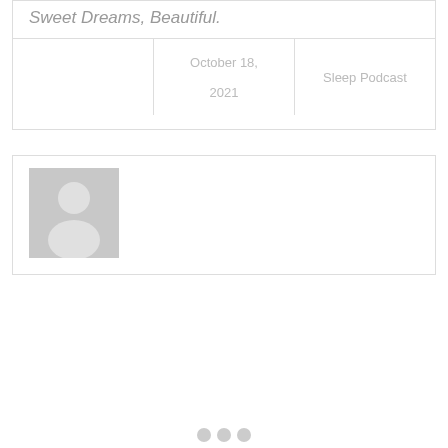Sweet Dreams, Beautiful.
|  | October 18, 2021 | Sleep Podcast |
| --- | --- | --- |
[Figure (illustration): Default user avatar placeholder — grey rectangle with silhouette of a person (circle head and rounded shoulders) in lighter grey]
[Figure (other): Pagination dots — three grey circles in a row]